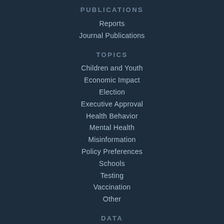PUBLICATIONS
Reports
Journal Publications
TOPICS
Children and Youth
Economic Impact
Election
Executive Approval
Health Behavior
Mental Health
Misinformation
Policy Preferences
Schools
Testing
Vaccination
Other
DATA